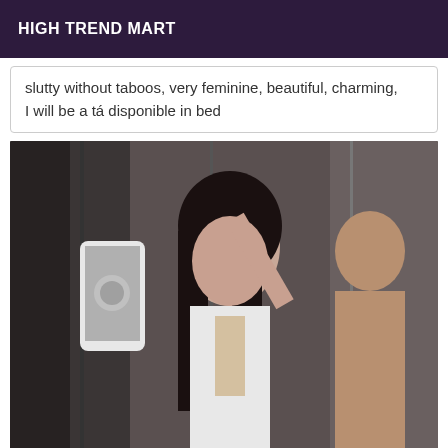HIGH TREND MART
slutty without taboos, very feminine, beautiful, charming, I will be a tá disponible in bed
[Figure (photo): A woman with dark hair taking a mirror selfie with a white iPhone, wearing a white lace-up bodysuit, with another person partially visible beside her.]